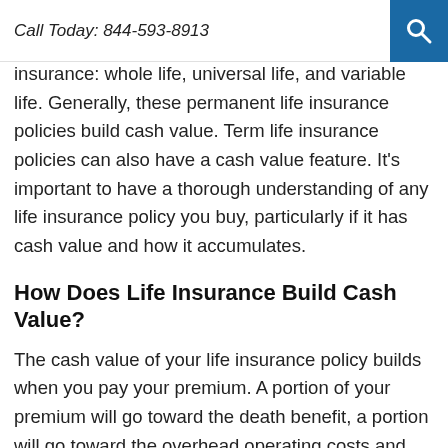Call Today: 844-593-8913
There are three different kinds of permanent life insurance: whole life, universal life, and variable life. Generally, these permanent life insurance policies build cash value. Term life insurance policies can also have a cash value feature. It's important to have a thorough understanding of any life insurance policy you buy, particularly if it has cash value and how it accumulates.
How Does Life Insurance Build Cash Value?
The cash value of your life insurance policy builds when you pay your premium. A portion of your premium will go toward the death benefit, a portion will go toward the overhead operating costs and